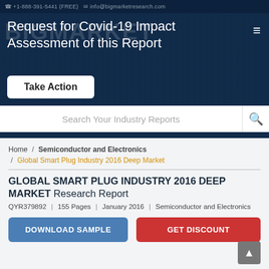+1-888-391-5441 (FREE)  info@bigmarketresearch.com
Request for Covid-19 Impact Assessment of this Report
Take Action
Search Your Industry Reports
Home / Semiconductor and Electronics / Global Smart Plug Industry 2016 Deep Market
GLOBAL SMART PLUG INDUSTRY 2016 DEEP MARKET Research Report
QYR379892  |  155 Pages  |  January 2016  |  Semiconductor and Electronics
DOWNLOAD SAMPLE
GET DISCOUNT